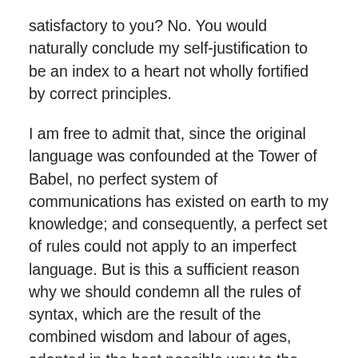satisfactory to you? No. You would naturally conclude my self-justification to be an index to a heart not wholly fortified by correct principles.
I am free to admit that, since the original language was confounded at the Tower of Babel, no perfect system of communications has existed on earth to my knowledge; and consequently, a perfect set of rules could not apply to an imperfect language. But is this a sufficient reason why we should condemn all the rules of syntax, which are the result of the combined wisdom and labour of ages, adapted in the best possible way to the construction and use of speech? Such sweeping declarations may generally be regarded more as an effort on the part of the delinquent to hide some radical violations of just laws than the display of any real wisdom or merit. We might just as well say that men are of no account or worth, because they are imperfect, and hence go to heaven and deal with